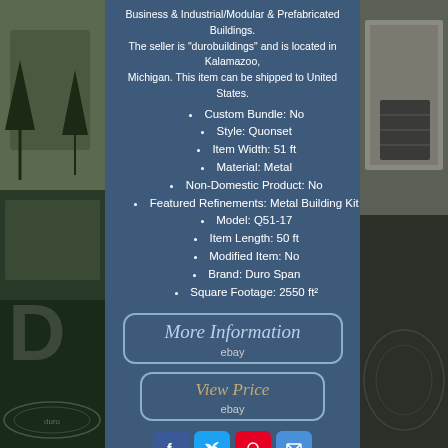[Figure (photo): Left side photo strip showing a house/building exterior with trees in background and a duro watermark circle at bottom]
Business & Industrial/Modular & Prefabricated Buildings. The seller is "durobuildings" and is located in Kalamazoo, Michigan. This item can be shipped to United States.
Custom Bundle: No
Style: Quonset
Item Width: 51 ft
Material: Metal
Non-Domestic Product: No
Featured Refinements: Metal Building Kit
Model: Q51-17
Item Length: 50 ft
Modified Item: No
Brand: Duro Span
Square Footage: 2550 ft²
[Figure (screenshot): More Information button with eBay logo]
[Figure (screenshot): View Price button with eBay logo]
[Figure (infographic): Social share buttons: Facebook, Twitter, Pinterest, Email]
[Figure (photo): Right side photo strip showing a building/garage exterior]